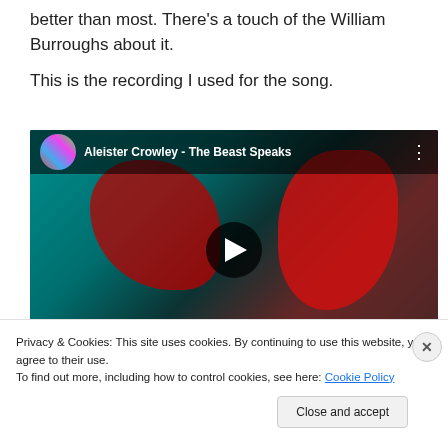better than most. There's a touch of the William Burroughs about it.
This is the recording I used for the song.
[Figure (screenshot): Embedded YouTube video thumbnail showing 'Aleister Crowley - The Beast Speaks' with a red and teal stylized image of figures, a circular play button in the center, and the YouTube video title and channel avatar in the top bar.]
Privacy & Cookies: This site uses cookies. By continuing to use this website, you agree to their use.
To find out more, including how to control cookies, see here: Cookie Policy
Close and accept